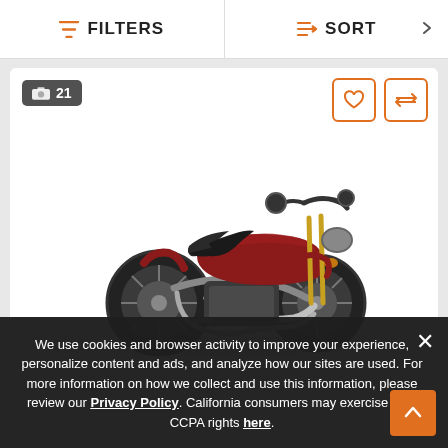FILTERS   SORT
[Figure (photo): Red/dark Indian motorcycle (cruiser/bobber style) shown on white background, card with photo count badge '21' and heart/compare action buttons]
We use cookies and browser activity to improve your experience, personalize content and ads, and analyze how our sites are used. For more information on how we collect and use this information, please review our Privacy Policy. California consumers may exercise their CCPA rights here.